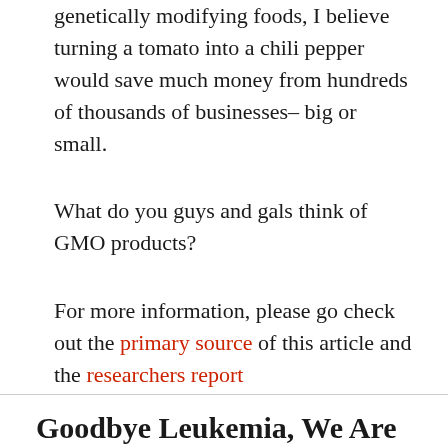genetically modifying foods, I believe turning a tomato into a chili pepper would save much money from hundreds of thousands of businesses– big or small.
What do you guys and gals think of GMO products?
For more information, please go check out the primary source of this article and the researchers report
Goodbye Leukemia, We Are